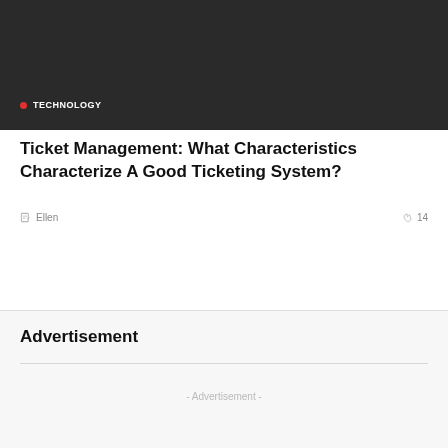[Figure (photo): Dark hero image area with dark background]
TECHNOLOGY
Ticket Management: What Characteristics Characterize A Good Ticketing System?
Ellen   14
Advertisement
- Advertisement -